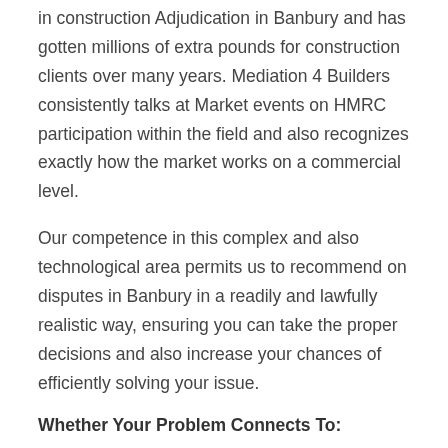in construction Adjudication in Banbury and has gotten millions of extra pounds for construction clients over many years. Mediation 4 Builders consistently talks at Market events on HMRC participation within the field and also recognizes exactly how the market works on a commercial level.
Our competence in this complex and also technological area permits us to recommend on disputes in Banbury in a readily and lawfully realistic way, ensuring you can take the proper decisions and also increase your chances of efficiently solving your issue.
Whether Your Problem Connects To:
Delays/Extension of time insurance claims
Defects/Remedial jobs